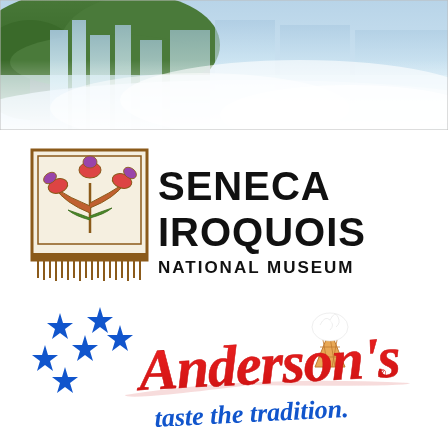[Figure (photo): Waterfall photo, likely Niagara Falls, with green rocky cliffs on the left and white rushing water mist on the right]
[Figure (logo): Seneca Iroquois National Museum logo: decorative plant/flower motif in a bordered box with fringe at bottom, beside large bold text reading SENECA IROQUOIS NATIONAL MUSEUM]
[Figure (logo): Anderson's logo: red cursive script 'Andersons' with ice cream cone icon, blue stars, and blue cursive tagline 'taste the tradition.']